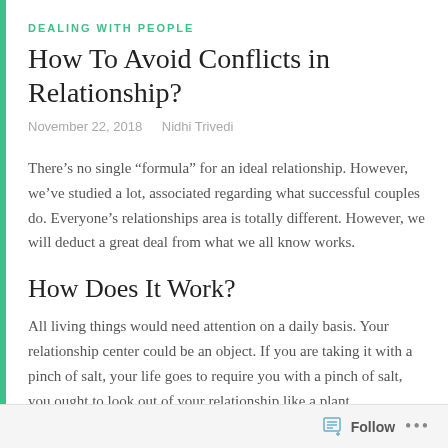DEALING WITH PEOPLE
How To Avoid Conflicts in Relationship?
November 22, 2018    Nidhi Trivedi
There’s no single “formula” for an ideal relationship. However, we’ve studied a lot, associated regarding what successful couples do. Everyone’s relationships area is totally different. However, we will deduct a great deal from what we all know works.
How Does It Work?
All living things would need attention on a daily basis. Your relationship center could be an object. If you are taking it with a pinch of salt, your life goes to require you with a pinch of salt, you ought to look out of your relationship like a plant.